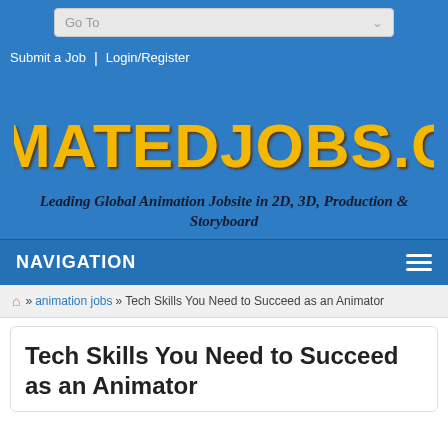Go To
Submit a Job | Login/Register
[Figure (logo): ANIMATEDJOBS.COM logo in large yellow bold arched text with dark shadow on blue background]
Leading Global Animation Jobsite in 2D, 3D, Production & Storyboard
NAVIGATION
home » animation jobs » Tech Skills You Need to Succeed as an Animator
Tech Skills You Need to Succeed as an Animator